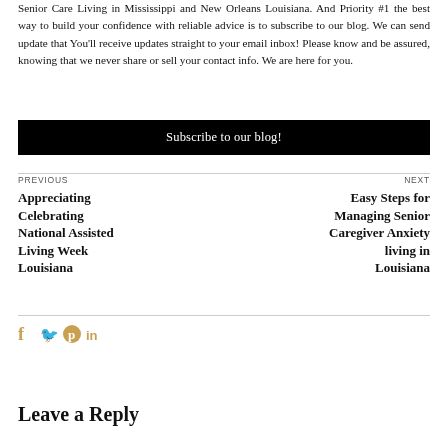Senior Care Living in Mississippi and New Orleans Louisiana. And Priority #1 the best way to build your confidence with reliable advice is to subscribe to our blog. We can send update that You'll receive updates straight to your email inbox! Please know and be assured, knowing that we never share or sell your contact info. We are here for you.
[Figure (other): Black button with white text reading 'Subscribe to our blog!']
PREVIOUS
Appreciating Celebrating National Assisted Living Week Louisiana
NEXT
Easy Steps for Managing Senior Caregiver Anxiety living in Louisiana
[Figure (other): Social media icons: Facebook (f), Twitter (bird), Pinterest (p), LinkedIn (in) in gold/amber color]
Leave a Reply